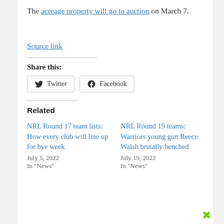The acreage property will go to auction on March 7.
Source link
Share this:
Twitter  Facebook
Related
NRL Round 17 team lists: How every club will line up for bye week
July 5, 2022
In "News"
NRL Round 19 teams: Warriors young gun Reece Walsh brutally benched
July 19, 2022
In "News"